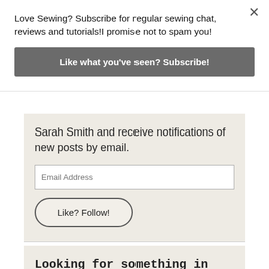Love Sewing? Subscribe for regular sewing chat, reviews and tutorials!I promise not to spam you!
Like what you've seen? Subscribe!
Sarah Smith and receive notifications of new posts by email.
Email Address
Like? Follow!
Looking for something in particular? Search here: